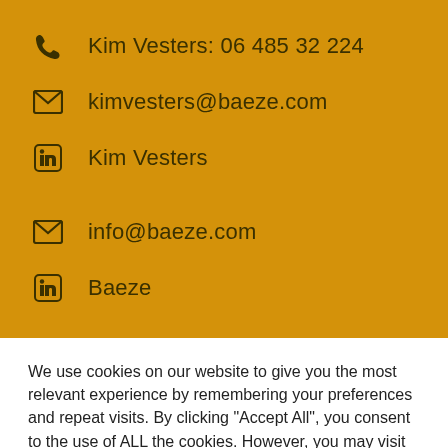Kim Vesters: 06 485 32 224
kimvesters@baeze.com
Kim Vesters
info@baeze.com
Baeze
We use cookies on our website to give you the most relevant experience by remembering your preferences and repeat visits. By clicking "Accept All", you consent to the use of ALL the cookies. However, you may visit "Cookie Settings" to provide a controlled consent.